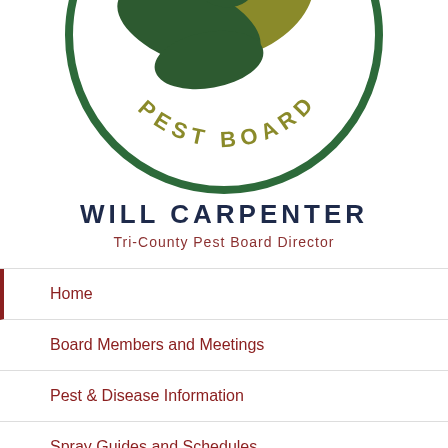[Figure (logo): Tri-County Pest Board circular logo with dark green border, olive/dark green leaf and bird/tree motif in center, text 'PEST BOARD' along bottom arc in olive-gold color]
WILL CARPENTER
Tri-County Pest Board Director
Home
Board Members and Meetings
Pest & Disease Information
Spray Guides and Schedules